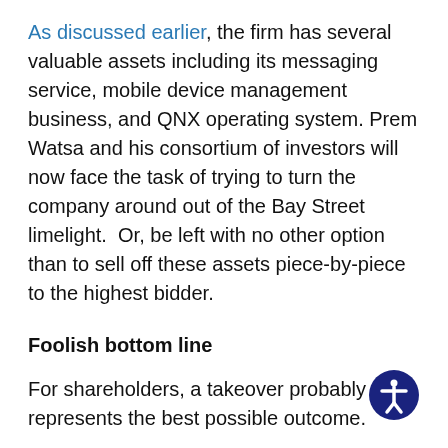As discussed earlier, the firm has several valuable assets including its messaging service, mobile device management business, and QNX operating system. Prem Watsa and his consortium of investors will now face the task of trying to turn the company around out of the Bay Street limelight.  Or, be left with no other option than to sell off these assets piece-by-piece to the highest bidder.
Foolish bottom line
For shareholders, a takeover probably represents the best possible outcome.